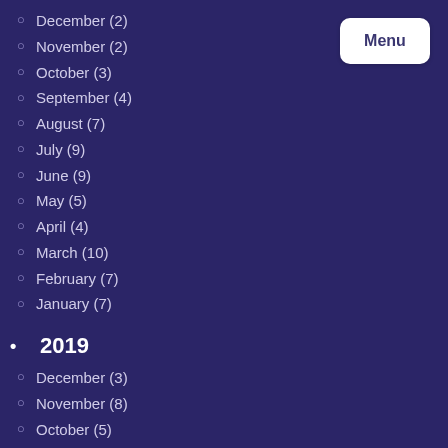December (2)
November (2)
October (3)
September (4)
August (7)
July (9)
June (9)
May (5)
April (4)
March (10)
February (7)
January (7)
2019
December (3)
November (8)
October (5)
September (2)
August (5)